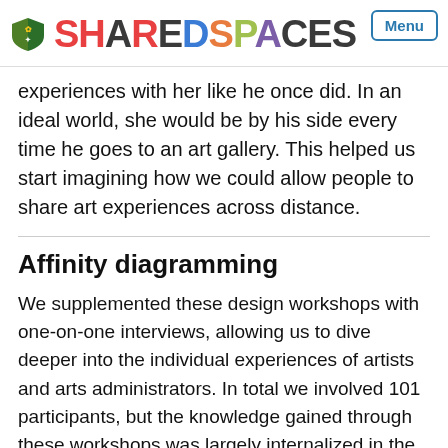SHARED SPACES Menu
experiences with her like he once did. In an ideal world, she would be by his side every time he goes to an art gallery. This helped us start imagining how we could allow people to share art experiences across distance.
Affinity diagramming
We supplemented these design workshops with one-on-one interviews, allowing us to dive deeper into the individual experiences of artists and arts administrators. In total we involved 101 participants, but the knowledge gained through these workshops was largely internalized in the members of our project team who attended these workshops. As well, it was hard to understand which comments spoke to common themes and which were more individualized